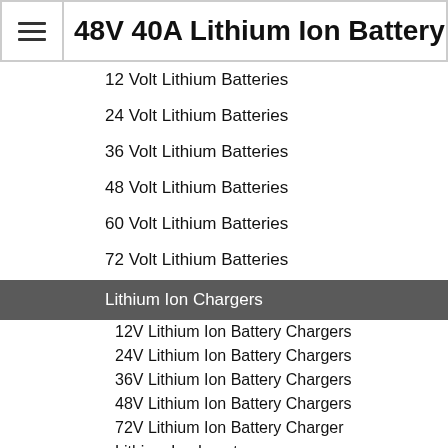48V 40A Lithium Ion Battery Charg
12 Volt Lithium Batteries
24 Volt Lithium Batteries
36 Volt Lithium Batteries
48 Volt Lithium Batteries
60 Volt Lithium Batteries
72 Volt Lithium Batteries
Lithium Ion Chargers
12V Lithium Ion Battery Chargers
24V Lithium Ion Battery Chargers
36V Lithium Ion Battery Chargers
48V Lithium Ion Battery Chargers
72V Lithium Ion Battery Charger
Lithium Ion Inverters
Lithium Ion Solar Charge Controllers
Accessories